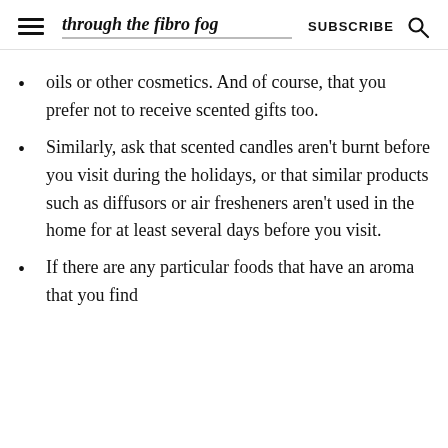through the fibro fog  SUBSCRIBE
oils or other cosmetics. And of course, that you prefer not to receive scented gifts too.
Similarly, ask that scented candles aren't burnt before you visit during the holidays, or that similar products such as diffusors or air fresheners aren't used in the home for at least several days before you visit.
If there are any particular foods that have an aroma that you find